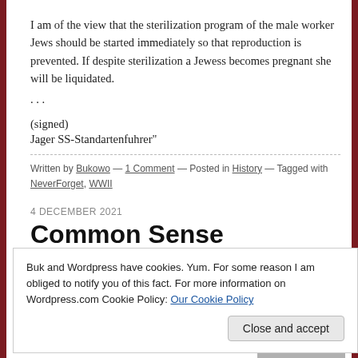I am of the view that the sterilization program of the male worker Jews should be started immediately so that reproduction is prevented. If despite sterilization a Jewess becomes pregnant she will be liquidated.
. . .
(signed)
Jager SS-Standartenfuhrer"
Written by Bukowo — 1 Comment — Posted in History — Tagged with NeverForget, WWII
4 DECEMBER 2021
Common Sense
Buk and Wordpress have cookies. Yum. For some reason I am obliged to notify you of this fact. For more information on Wordpress.com Cookie Policy: Our Cookie Policy
Close and accept
Commander Pacific Fleet (CINCPAC) Adm